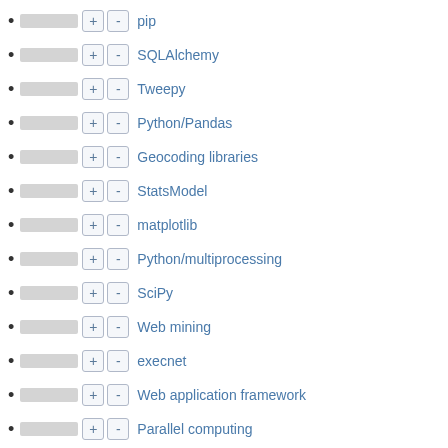pip
SQLAlchemy
Tweepy
Python/Pandas
Geocoding libraries
StatsModel
matplotlib
Python/multiprocessing
SciPy
Web mining
execnet
Web application framework
Parallel computing